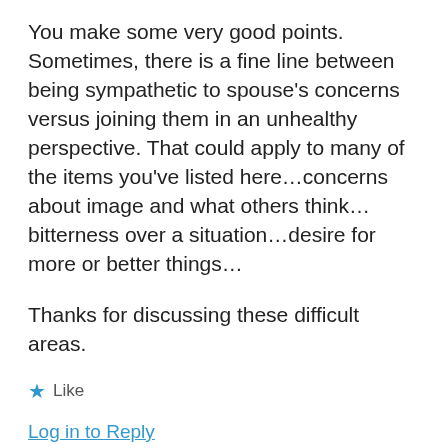You make some very good points. Sometimes, there is a fine line between being sympathetic to spouse's concerns versus joining them in an unhealthy perspective. That could apply to many of the items you've listed here...concerns about image and what others think...bitterness over a situation...desire for more or better things...
Thanks for discussing these difficult areas.
★ Like
Log in to Reply